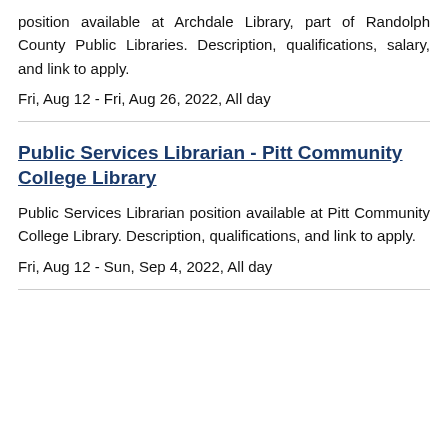position available at Archdale Library, part of Randolph County Public Libraries. Description, qualifications, salary, and link to apply.
Fri, Aug 12 - Fri, Aug 26, 2022, All day
Public Services Librarian - Pitt Community College Library
Public Services Librarian position available at Pitt Community College Library. Description, qualifications, and link to apply.
Fri, Aug 12 - Sun, Sep 4, 2022, All day